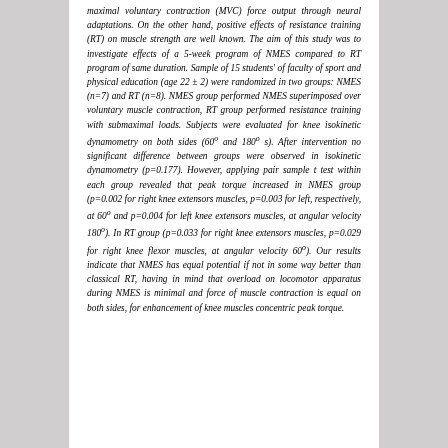maximal voluntary contraction (MVC) force output through neural adaptations. On the other hand, positive effects of resistance training (RT) on muscle strength are well known. The aim of this study was to investigate effects of a 5-week program of NMES compared to RT program of same duration. Sample of 15 students' of faculty of sport and physical education (age 22 ± 2) were randomized in two groups: NMES (n=7) and RT (n=8). NMES group performed NMES superimposed over voluntary muscle contraction, RT group performed resistance training with submaximal loads. Subjects were evaluated for knee isokinetic dynamometry on both sides (60° and 180° s). After intervention no significant difference between groups were observed in isokinetic dynamometry (p=0.177). However, applying pair sample t test within each group revealed that peak torque increased in NMES group (p=0.002 for right knee extensors muscles, p=0.003 for left, respectively, at 60° and p=0.004 for left knee extensors muscles, at angular velocity 180°). In RT group (p=0.033 for right knee extensors muscles, p=0.029 for right knee flexor muscles, at angular velocity 60°). Our results indicate that NMES has equal potential if not in some way better than classical RT, having in mind that overload on locomotor apparatus during NMES is minimal and force of muscle contraction is equal on both sides, for enhancement of knee muscles concentric peak torque.